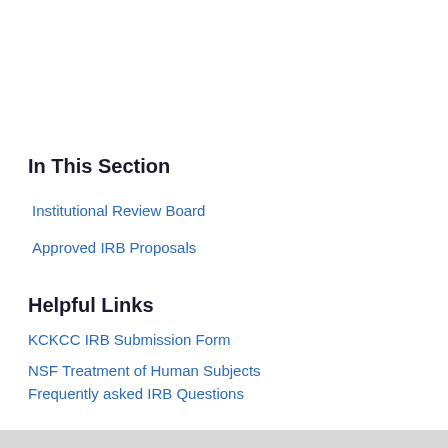In This Section
Institutional Review Board
Approved IRB Proposals
Helpful Links
KCKCC IRB Submission Form
NSF Treatment of Human Subjects
Frequently asked IRB Questions